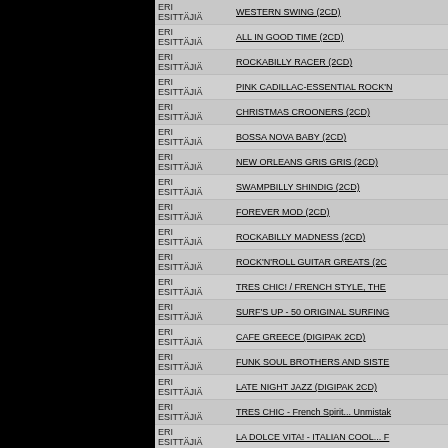| Artist | Title |
| --- | --- |
| ERI ESITTÄJIÄ | WESTERN SWING (2CD) |
| ERI ESITTÄJIÄ | ALL IN GOOD TIME (2CD) |
| ERI ESITTÄJIÄ | ROCKABILLY RACER (2CD) |
| ERI ESITTÄJIÄ | PINK CADILLAC-ESSENTIAL ROCK'N... |
| ERI ESITTÄJIÄ | CHRISTMAS CROONERS (2CD) |
| ERI ESITTÄJIÄ | BOSSA NOVA BABY (2CD) |
| ERI ESITTÄJIÄ | NEW ORLEANS GRIS GRIS (2CD) |
| ERI ESITTÄJIÄ | SWAMPBILLY SHINDIG (2CD) |
| ERI ESITTÄJIÄ | FOREVER MOD (2CD) |
| ERI ESITTÄJIÄ | ROCKABILLY MADNESS (2CD) |
| ERI ESITTÄJIÄ | ROCK'N'ROLL GUITAR GREATS (2C... |
| ERI ESITTÄJIÄ | TRES CHIC! / FRENCH STYLE, THE ... |
| ERI ESITTÄJIÄ | SURF'S UP - 50 ORIGINAL SURFING... |
| ERI ESITTÄJIÄ | CAFE GREECE (DIGIPAK 2CD) |
| ERI ESITTÄJIÄ | FUNK SOUL BROTHERS AND SISTE... |
| ERI ESITTÄJIÄ | LATE NIGHT JAZZ (DIGIPAK 2CD) |
| ERI ESITTÄJIÄ | TRES CHIC - French Spirit... Unmistak... |
| ERI ESITTÄJIÄ | LA DOLCE VITA! - ITALIAN COOL... F... |
| ERI ESITTÄJIÄ |  |